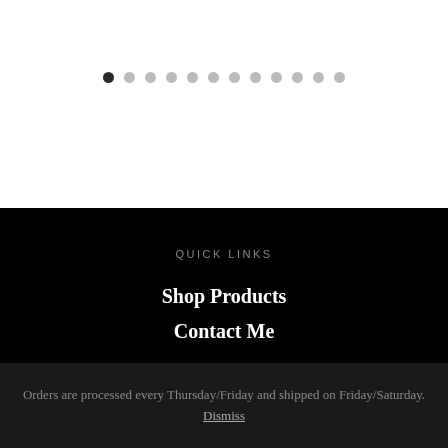[Figure (other): Pagination dots row: 12 dots, first dot is dark/active, remaining 11 dots are light gray]
QUICK LINKS
Shop Products
Contact Me
Orders are processed every Thursday/Friday and shipped on Friday/Saturday. Dismiss